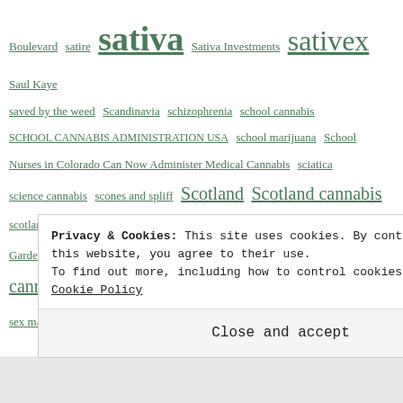Boulevard satire sativa Sativa Investments sativex Saul Kaye
saved by the weed Scandinavia schizophrenia school cannabis
SCHOOL CANNABIS ADMINISTRATION USA school marijuana School Nurses in Colorado Can Now Administer Medical Cannabis sciatica
science cannabis scones and spliff Scotland Scotland cannabis
scotland cannabis news scotland cbd SEATTLE CANNABIS Secret Garden Party
seizures serotonin sessions SETH ROGEN sex sex cannabis sex drive cannabis sex life sex marijuana sex marjuana
sex mary j sex stamina sexual disorders sexual dysfunction sexual health sex weed SF CANNABIS Shakera Halim Shares
Shari Horne Shiva SHUT DOWN CANNABIS shutdown in the us
Privacy & Cookies: This site uses cookies. By continuing to use this website, you agree to their use. To find out more, including how to control cookies, see here: Cookie Policy
Close and accept